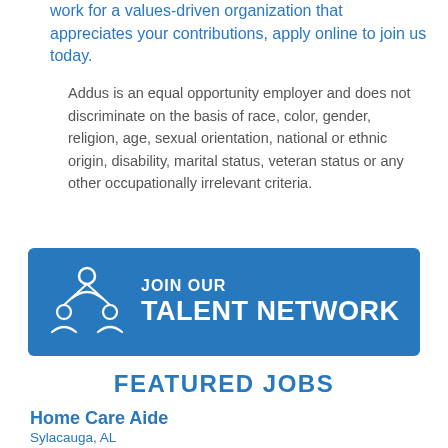work for a values-driven organization that appreciates your contributions, apply online to join us today.
Addus is an equal opportunity employer and does not discriminate on the basis of race, color, gender, religion, age, sexual orientation, national or ethnic origin, disability, marital status, veteran status or any other occupationally irrelevant criteria.
[Figure (infographic): Blue banner with people/network icon and text: JOIN OUR TALENT NETWORK]
FEATURED JOBS
Home Care Aide
Sylacauga, AL
Now offering DAILY PAY for select positions! Addus Home Care is hiring in the Sylacauga, AL area to help...